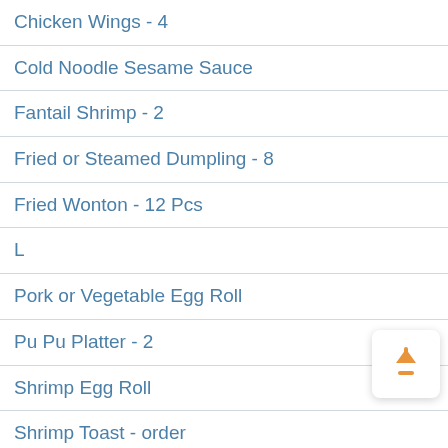Chicken Wings - 4
Cold Noodle Sesame Sauce
Fantail Shrimp - 2
Fried or Steamed Dumpling - 8
Fried Wonton - 12 Pcs
L
Pork or Vegetable Egg Roll
Pu Pu Platter - 2
Shrimp Egg Roll
Shrimp Toast - order
Spring Roll - 2